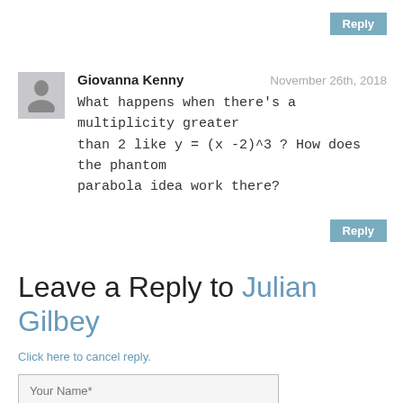Reply
Giovanna Kenny — November 26th, 2018
What happens when there's a multiplicity greater than 2 like y = (x -2)^3 ? How does the phantom parabola idea work there?
Reply
Leave a Reply to Julian Gilbey
Click here to cancel reply.
Your Name*
Your E-Mail*